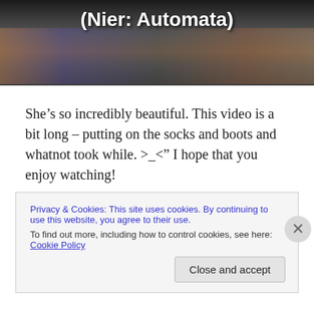[Figure (photo): A photo of a figure display case with anime/game figurines. Overlaid white bold text reads '(Nier: Automata)'.]
She’s so incredibly beautiful. This video is a bit long – putting on the socks and boots and whatnot took while. >_<” I hope that you enjoy watching!
– ♥ Archangeli
Privacy & Cookies: This site uses cookies. By continuing to use this website, you agree to their use.
To find out more, including how to control cookies, see here: Cookie Policy